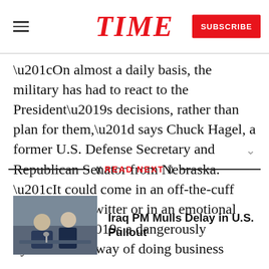TIME
“On almost a daily basis, the military has had to react to the President’s decisions, rather than plan for them,” says Chuck Hagel, a former U.S. Defense Secretary and Republican Senator from Nebraska. “It could come in an off-the-cuff comment or Twitter or in an emotional outburst. It’s a dangerously dysfunctional way of doing business
READ NEXT
Iraq PM Mulls Delay in U.S. Pullout